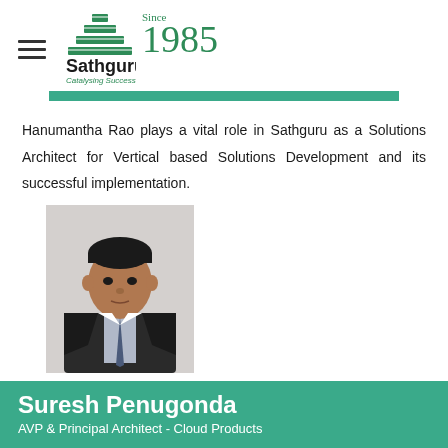Sathguru — Catalysing Success — Since 1985
Hanumantha Rao plays a vital role in Sathguru as a Solutions Architect for Vertical based Solutions Development and its successful implementation.
[Figure (photo): Portrait photo of Suresh Penugonda in a dark suit]
Suresh Penugonda
AVP & Principal Architect - Cloud Products